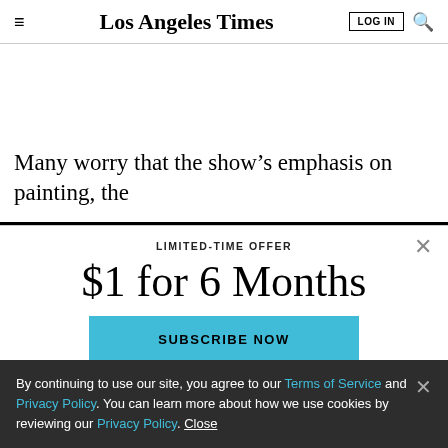Los Angeles Times — LOG IN [search icon]
Many worry that the show's emphasis on painting, the
LIMITED-TIME OFFER
$1 for 6 Months
SUBSCRIBE NOW
By continuing to use our site, you agree to our Terms of Service and Privacy Policy. You can learn more about how we use cookies by reviewing our Privacy Policy. Close